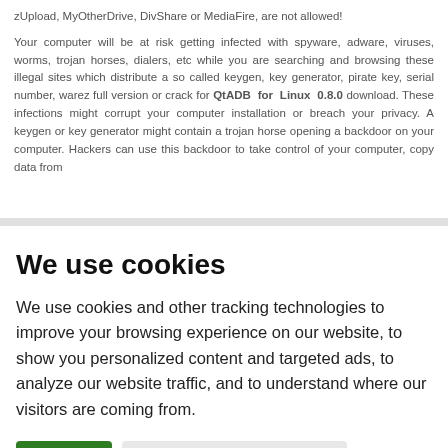zUpload, MyOtherDrive, DivShare or MediaFire, are not allowed!
Your computer will be at risk getting infected with spyware, adware, viruses, worms, trojan horses, dialers, etc while you are searching and browsing these illegal sites which distribute a so called keygen, key generator, pirate key, serial number, warez full version or crack for QtADB for Linux 0.8.0 download. These infections might corrupt your computer installation or breach your privacy. A keygen or key generator might contain a trojan horse opening a backdoor on your computer. Hackers can use this backdoor to take control of your computer, copy data from
We use cookies
We use cookies and other tracking technologies to improve your browsing experience on our website, to show you personalized content and targeted ads, to analyze our website traffic, and to understand where our visitors are coming from.